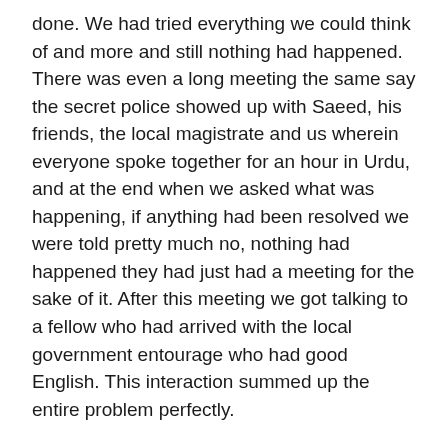done. We had tried everything we could think of and more and still nothing had happened. There was even a long meeting the same say the secret police showed up with Saeed, his friends, the local magistrate and us wherein everyone spoke together for an hour in Urdu, and at the end when we asked what was happening, if anything had been resolved we were told pretty much no, nothing had happened they had just had a meeting for the sake of it. After this meeting we got talking to a fellow who had arrived with the local government entourage who had good English. This interaction summed up the entire problem perfectly.
“Why are you not doing anything to clear the road?”
“It is not our responsibility.”